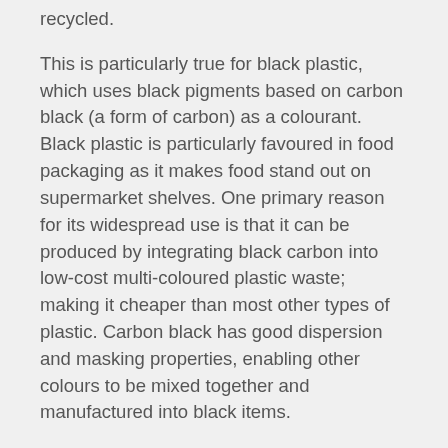recycled.
This is particularly true for black plastic, which uses black pigments based on carbon black (a form of carbon) as a colourant. Black plastic is particularly favoured in food packaging as it makes food stand out on supermarket shelves. One primary reason for its widespread use is that it can be produced by integrating black carbon into low-cost multi-coloured plastic waste; making it cheaper than most other types of plastic. Carbon black has good dispersion and masking properties, enabling other colours to be mixed together and manufactured into black items.
In theory, black plastic can be recycled like most other recyclable plastics. However, the pigments based on carbon black cannot be detected by traditional optical sorting methods used in most material recovery facilities or plastics recovery facilities, which separate plastics into different